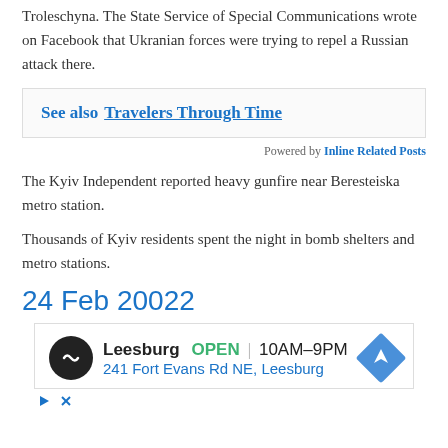Troleschyna. The State Service of Special Communications wrote on Facebook that Ukranian forces were trying to repel a Russian attack there.
See also  Travelers Through Time
Powered by Inline Related Posts
The Kyiv Independent reported heavy gunfire near Beresteiska metro station.
Thousands of Kyiv residents spent the night in bomb shelters and metro stations.
24 Feb 20022
[Figure (infographic): Advertisement for a Leesburg location showing OPEN 10AM-9PM, address 241 Fort Evans Rd NE, Leesburg, with navigation icon and ad controls.]